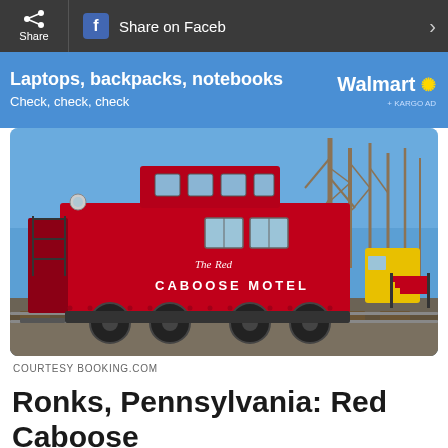Share | f Share on Facebook | >
[Figure (infographic): Walmart advertisement banner: Laptops, backpacks, notebooks. Check, check, check. Walmart logo with spark symbol. + KARGO AD tag.]
[Figure (photo): Photo of The Red Caboose Motel in Ronks, Pennsylvania. A bright red caboose train car sits on railroad tracks against a blue sky with bare winter trees. The caboose has white lettering reading 'The Red CABOOSE MOTEL'. A yellow vehicle and metal staircase are visible to the right.]
COURTESY BOOKING.COM
Ronks, Pennsylvania: Red Caboose